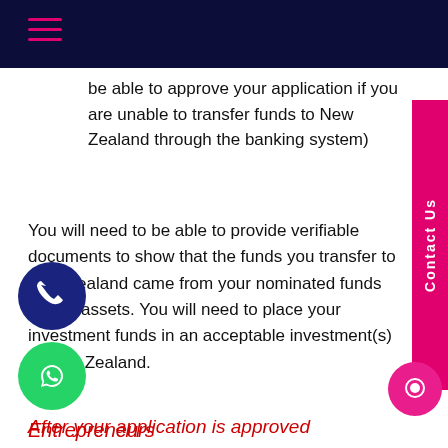Navigation header with hamburger menu
be able to approve your application if you are unable to transfer funds to New Zealand through the banking system)
You will need to be able to provide verifiable documents to show that the funds you transfer to New Zealand came from your nominated funds and/or assets. You will need to place your investment funds in an acceptable investment(s) in New Zealand.
After your application is approved
If your application is approved you (the principal applicant) must retain your investment funds in an acceptable investment(s) for two years.
Entrepreneurs